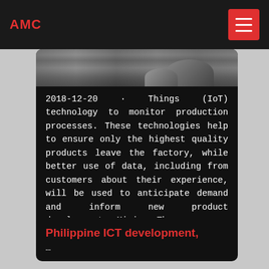AMC
[Figure (photo): Photograph showing a mining/industrial site with piles of material and equipment in a dark-toned image]
2018-12-20 · Things (IoT) technology to monitor production processes. These technologies help to ensure only the highest quality products leave the factory, while better use of data, including from customers about their experience, will be used to anticipate demand and inform new product development. Mining The resources and mining sector is undergoing an ...
Philippine ICT development,